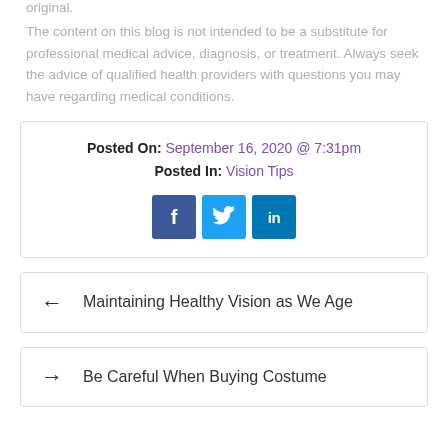original.
The content on this blog is not intended to be a substitute for professional medical advice, diagnosis, or treatment. Always seek the advice of qualified health providers with questions you may have regarding medical conditions.
Posted On: September 16, 2020 @ 7:31pm
Posted In: Vision Tips
[Figure (other): Social media share buttons: Facebook, Twitter, LinkedIn]
← Maintaining Healthy Vision as We Age
→ Be Careful When Buying Costume